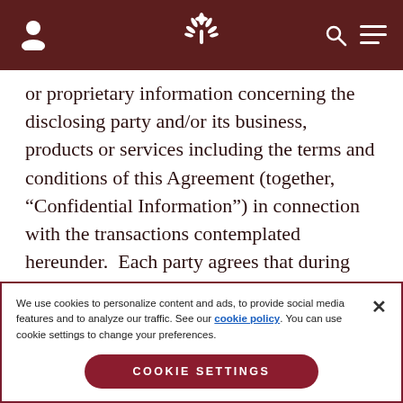Header navigation bar with user icon, logo, search, and menu
or proprietary information concerning the disclosing party and/or its business, products or services including the terms and conditions of this Agreement (together, “Confidential Information”) in connection with the transactions contemplated hereunder.  Each party agrees that during the term of this Agreement and thereafter (a) it will use Confidential Information belonging to the
We use cookies to personalize content and ads, to provide social media features and to analyze our traffic. See our cookie policy. You can use cookie settings to change your preferences.
COOKIE SETTINGS